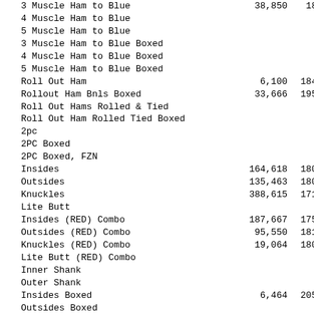| Item | Value1 | Value2 |
| --- | --- | --- |
| 3 Muscle Ham to Blue | 38,850 | 18… |
| 4 Muscle Ham to Blue |  |  |
| 5 Muscle Ham to Blue |  |  |
| 3 Muscle Ham to Blue Boxed |  |  |
| 4 Muscle Ham to Blue Boxed |  |  |
| 5 Muscle Ham to Blue Boxed |  |  |
| Roll Out Ham | 6,100 | 184… |
| Rollout Ham Bnls Boxed | 33,666 | 195… |
| Roll Out Hams Rolled & Tied |  |  |
| Roll Out Ham Rolled Tied Boxed |  |  |
| 2pc |  |  |
| 2PC Boxed |  |  |
| 2PC Boxed, FZN |  |  |
| Insides | 164,618 | 180… |
| Outsides | 135,463 | 180… |
| Knuckles | 388,615 | 171… |
| Lite Butt |  |  |
| Insides (RED) Combo | 187,667 | 175… |
| Outsides (RED) Combo | 95,550 | 181… |
| Knuckles (RED) Combo | 19,064 | 180… |
| Lite Butt (RED) Combo |  |  |
| Inner Shank |  |  |
| Outer Shank |  |  |
| Insides Boxed | 6,464 | 205… |
| Outsides Boxed |  |  |
| Knuckles Boxed |  |  |
| Lite Butt Boxed |  |  |
| Inner Shank Boxed |  |  |
| Outer Shank Boxed |  |  |
| Shanks Bone In |  |  |
| Shanks Bone In Boxed | 6,660 | … |